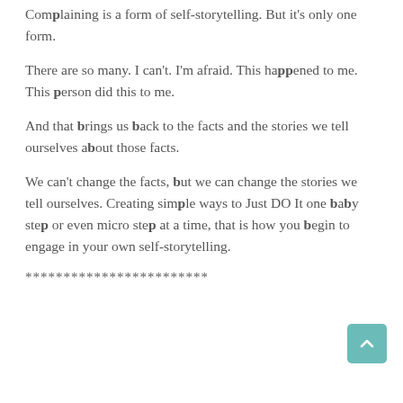Complaining is a form of self-storytelling. But it's only one form.
There are so many. I can't. I'm afraid. This happened to me. This person did this to me.
And that brings us back to the facts and the stories we tell ourselves about those facts.
We can't change the facts, but we can change the stories we tell ourselves. Creating simple ways to Just DO It one baby step or even micro step at a time, that is how you begin to engage in your own self-storytelling.
************************